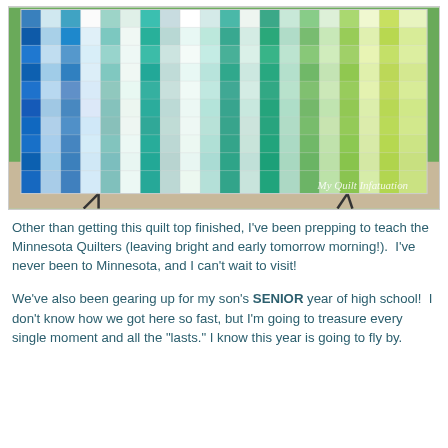[Figure (photo): A colorful patchwork quilt displayed outdoors on a stand, featuring squares in shades of blue, teal, green, gray, and white. The quilt is hung against a background of grass and gravel. A watermark reads 'My Quilt Infatuation' in the lower right corner.]
Other than getting this quilt top finished, I've been prepping to teach the Minnesota Quilters (leaving bright and early tomorrow morning!).  I've never been to Minnesota, and I can't wait to visit!
We've also been gearing up for my son's SENIOR year of high school!  I don't know how we got here so fast, but I'm going to treasure every single moment and all the "lasts." I know this year is going to fly by.